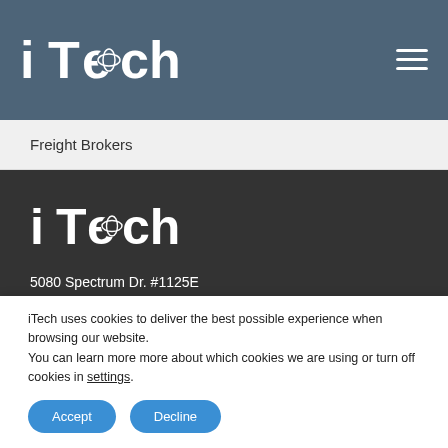iTech
Freight Brokers
[Figure (logo): iTech company logo in white on dark background]
5080 Spectrum Dr. #1125E
Addison, TX 75001
972.456.9479
iTech uses cookies to deliver the best possible experience when browsing our website.
You can learn more more about which cookies we are using or turn off cookies in settings.
Accept   Decline